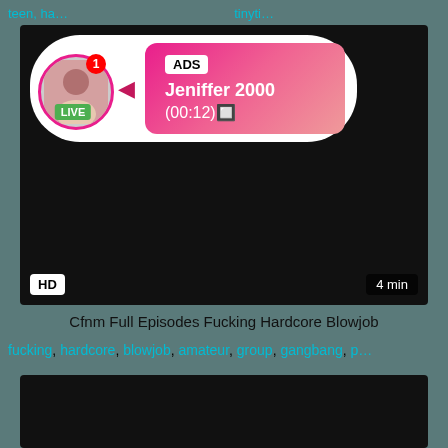teen, ha…  tinyti…
[Figure (screenshot): Video thumbnail with dark background, overlaid ad popup showing avatar with LIVE badge, notification badge with '1', and pink gradient box with 'ADS', 'Jeniffer 2000', '(00:12)🔲'. HD badge bottom-left, '4 min' badge bottom-right.]
Cfnm Full Episodes Fucking Hardcore Blowjob
fucking, hardcore, blowjob, amateur, group, gangbang, p…
[Figure (screenshot): Dark video thumbnail, partially visible at bottom of page.]